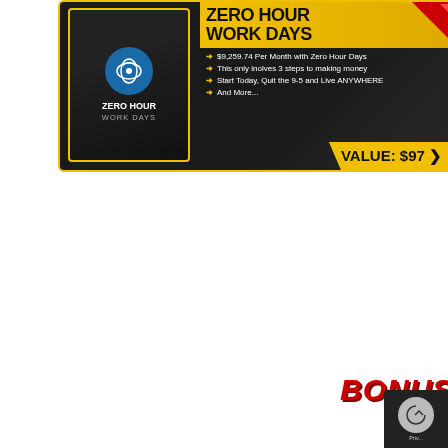[Figure (infographic): Zero Hour Work Days bonus product card with dark background, product box image on left, title in yellow, bullet points, and VALUE: $97 badge]
[Figure (infographic): BONUS #6 label in red italic text with medal/ribbon badge]
[Figure (infographic): Lindgren's Lazy Method bonus product card with iMac mockup on left, title in yellow, bullet points, and VALUE: $97 badge]